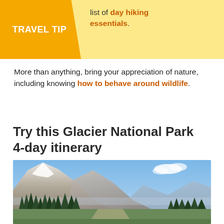TRAVEL TIP | list of day hiking essentials.
More than anything, bring your appreciation of nature, including knowing how to behave around wildlife.
Try this Glacier National Park 4-day itinerary
[Figure (photo): Photograph of Glacier National Park mountains with blue sky, conifer trees in foreground and rocky peaks in background]